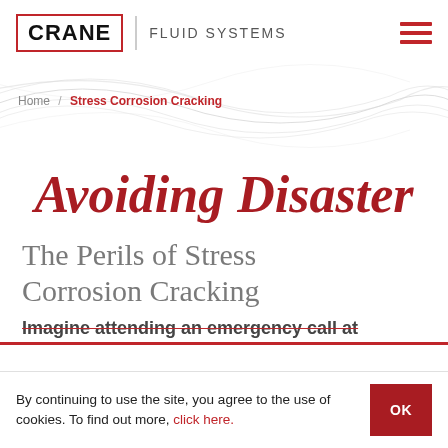CRANE FLUID SYSTEMS
[Figure (illustration): Decorative wave pattern background banner in light grey]
Home / Stress Corrosion Cracking
Avoiding Disaster
The Perils of Stress Corrosion Cracking
Imagine attending an emergency call at
By continuing to use the site, you agree to the use of cookies. To find out more, click here.